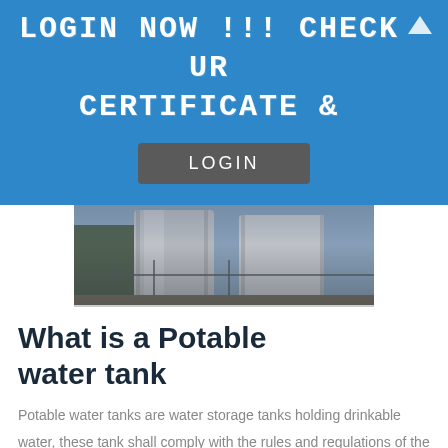LOGIN NOW !!! CHECK UR CERTIFICATE &
[Figure (screenshot): A dark gray LOGIN button on the blue banner background]
[Figure (photo): Photograph of industrial potable water storage tanks, large silver cylindrical tanks with fencing]
What is a Potable water tank
Potable water tanks are water storage tanks holding drinkable water, these tank shall comply with the rules and regulations of the food safety department of Dubai municipality.
As per a recent circulation sent from Dubai municipality